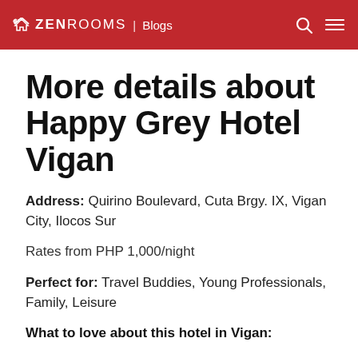ZEN ROOMS | Blogs
More details about Happy Grey Hotel Vigan
Address: Quirino Boulevard, Cuta Brgy. IX, Vigan City, Ilocos Sur
Rates from PHP 1,000/night
Perfect for: Travel Buddies, Young Professionals, Family, Leisure
What to love about this hotel in Vigan: